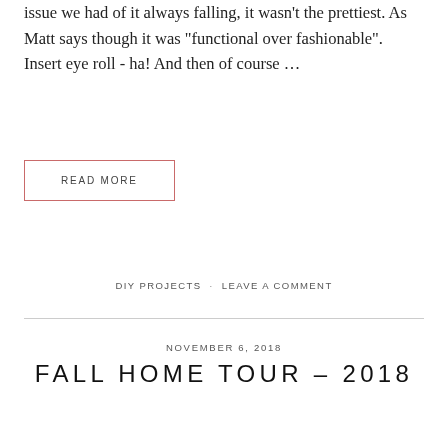issue we had of it always falling, it wasn't the prettiest. As Matt says though it was "functional over fashionable". Insert eye roll - ha! And then of course ...
READ MORE
DIY PROJECTS · LEAVE A COMMENT
NOVEMBER 6, 2018
FALL HOME TOUR – 2018